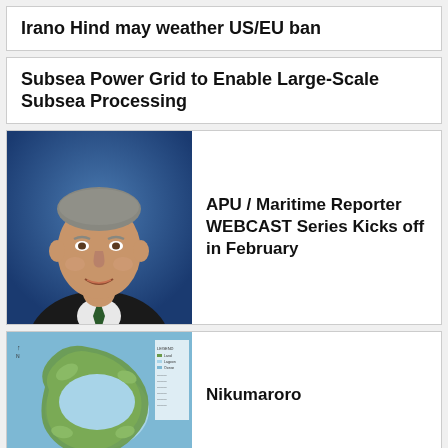Irano Hind may weather US/EU ban
Subsea Power Grid to Enable Large-Scale Subsea Processing
[Figure (photo): Portrait photo of a middle-aged man in a dark suit with a tie, smiling, against a blue background]
APU / Maritime Reporter WEBCAST Series Kicks off in February
[Figure (map): Map of Nikumaroro atoll showing the island outline in green/tan surrounded by blue lagoon and ocean waters, with legend on the right side]
Nikumaroro